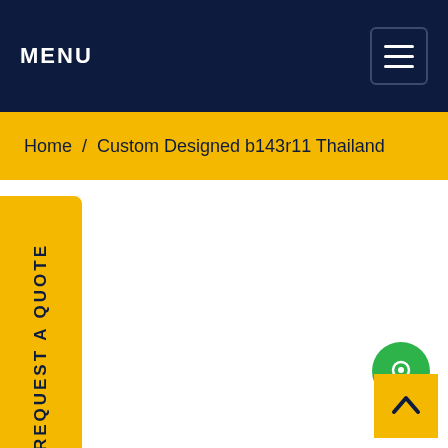MENU
Home / Custom Designed b143r11 Thailand
REQUEST A QUOTE
[Figure (illustration): Green circular chat/message bubble icon]
[Figure (illustration): Yellow back-to-top button with upward arrow]